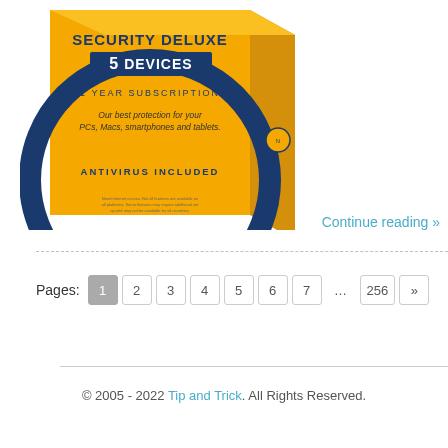[Figure (photo): Norton Security Deluxe product box — yellow box with dark blue circular logo, '5 DEVICES' banner in dark blue, '1 YEAR SUBSCRIPTION', 'Our best protection for your PCs, Macs, smartphones and tablets.', 'ANTIVIRUS INCLUDED' text, Norton logo on side panel]
Continue reading »
Pages: 1 2 3 4 5 6 7 ... 256 »
© 2005 - 2022 Tip and Trick. All Rights Reserved.